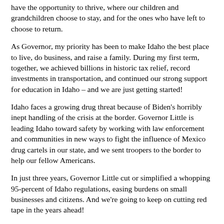have the opportunity to thrive, where our children and grandchildren choose to stay, and for the ones who have left to choose to return.
As Governor, my priority has been to make Idaho the best place to live, do business, and raise a family. During my first term, together, we achieved billions in historic tax relief, record investments in transportation, and continued our strong support for education in Idaho – and we are just getting started!
Idaho faces a growing drug threat because of Biden's horribly inept handling of the crisis at the border. Governor Little is leading Idaho toward safety by working with law enforcement and communities in new ways to fight the influence of Mexico drug cartels in our state, and we sent troopers to the border to help our fellow Americans.
In just three years, Governor Little cut or simplified a whopping 95-percent of Idaho regulations, easing burdens on small businesses and citizens. And we're going to keep on cutting red tape in the years ahead!
Questions or Comments? Send us an email!